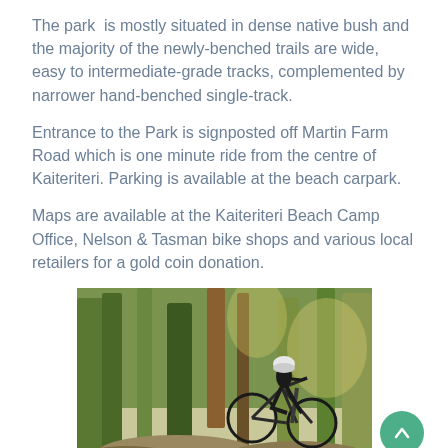The park  is mostly situated in dense native bush and the majority of the newly-benched trails are wide, easy to intermediate-grade tracks, complemented by narrower hand-benched single-track.
Entrance to the Park is signposted off Martin Farm Road which is one minute ride from the centre of Kaiteriteri. Parking is available at the beach carpark.
Maps are available at the Kaiteriteri Beach Camp Office, Nelson & Tasman bike shops and various local retailers for a gold coin donation.
[Figure (photo): A mountain biker in a helmet riding through a native bush/forest setting, airborne over rocks, wearing dark clothing. Trees visible in background with dappled light.]